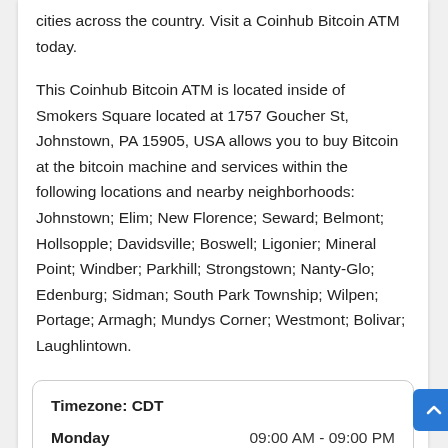cities across the country. Visit a Coinhub Bitcoin ATM today.
This Coinhub Bitcoin ATM is located inside of Smokers Square located at 1757 Goucher St, Johnstown, PA 15905, USA allows you to buy Bitcoin at the bitcoin machine and services within the following locations and nearby neighborhoods: Johnstown; Elim; New Florence; Seward; Belmont; Hollsopple; Davidsville; Boswell; Ligonier; Mineral Point; Windber; Parkhill; Strongstown; Nanty-Glo; Edenburg; Sidman; South Park Township; Wilpen; Portage; Armagh; Mundys Corner; Westmont; Bolivar; Laughlintown.
|  |  |
| --- | --- |
| Timezone: CDT |  |
| Monday | 09:00 AM - 09:00 PM |